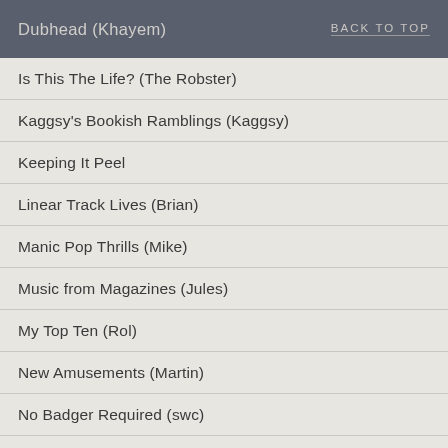Dubhead (Khayem)
Is This The Life? (The Robster)
Kaggsy's Bookish Ramblings (Kaggsy)
Keeping It Peel
Linear Track Lives (Brian)
Manic Pop Thrills (Mike)
Music from Magazines (Jules)
My Top Ten (Rol)
New Amusements (Martin)
No Badger Required (swc)
Plain or Pan (Craig McAllister)
PostPunkMonk (PPM)
Sexy Loser (Dirk)